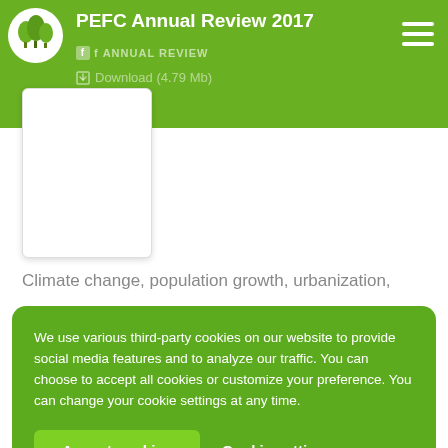PEFC Annual Review 2017
ANNUAL REVIEW
Download (4.79 Mb)
[Figure (other): White book cover thumbnail placeholder]
Climate change, population growth, urbanization,
We use various third-party cookies on our website to provide social media features and to analyze our traffic. You can choose to accept all cookies or customize your preference. You can change your cookie settings at any time.
Accept cookies
Cookie settings